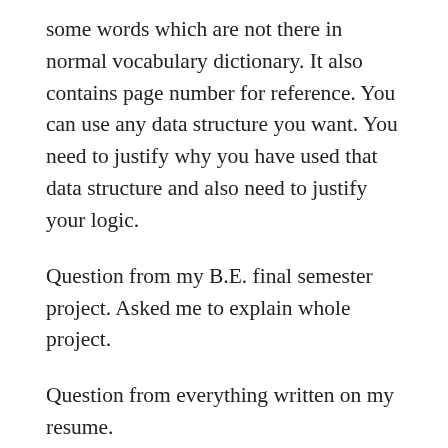some words which are not there in normal vocabulary dictionary. It also contains page number for reference. You can use any data structure you want. You need to justify why you have used that data structure and also need to justify your logic.
Question from my B.E. final semester project. Asked me to explain whole project.
Question from everything written on my resume.
Question from my every project I did. They asked me to explain each project and then how to do some modification? That modification will be suggested by interviewer himself.